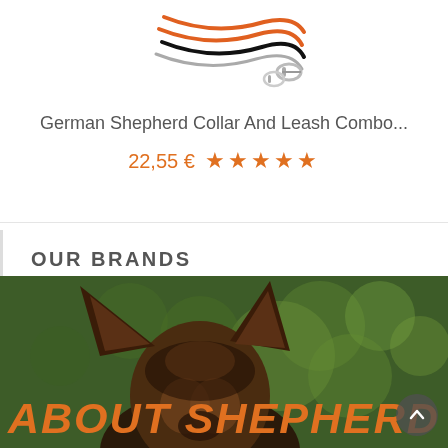[Figure (photo): Dog leash and collar combo product photo — orange and black braided leashes with metal clips, shown from above on white background]
German Shepherd Collar And Leash Combo...
22,55 € ★★★★★
OUR BRANDS
[Figure (photo): German Shepherd dog head and ears visible above green blurred bokeh background, with large bold orange italic text overlay reading ABOUT SHEPHERD SHO and a scroll-up button]